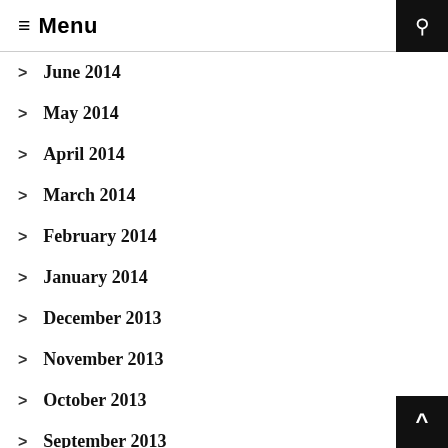≡ Menu
June 2014
May 2014
April 2014
March 2014
February 2014
January 2014
December 2013
November 2013
October 2013
September 2013
August 2013